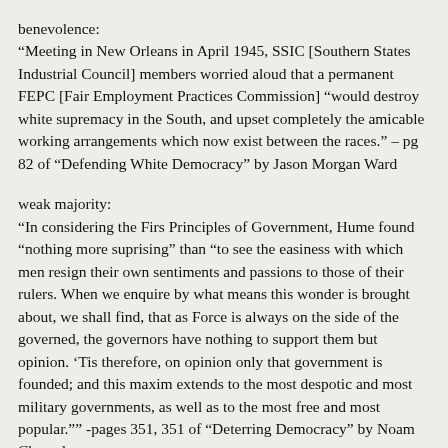benevolence:
“Meeting in New Orleans in April 1945, SSIC [Southern States Industrial Council] members worried aloud that a permanent FEPC [Fair Employment Practices Commission] “would destroy white supremacy in the South, and upset completely the amicable working arrangements which now exist between the races.” – pg 82 of “Defending White Democracy” by Jason Morgan Ward
weak majority:
“In considering the Firs Principles of Government, Hume found “nothing more suprising” than “to see the easiness with which men resign their own sentiments and passions to those of their rulers. When we enquire by what means this wonder is brought about, we shall find, that as Force is always on the side of the governed, the governors have nothing to support them but opinion. ‘Tis therefore, on opinion only that government is founded; and this maxim extends to the most despotic and most military governments, as well as to the most free and most popular.”” -pages 351, 351 of “Deterring Democracy” by Noam Chomsky